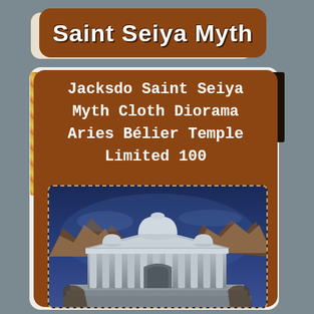Saint Seiya Myth
Jacksdo Saint Seiya Myth Cloth Diorama Aries Bélier Temple Limited 100
[Figure (photo): Photo of Aries temple diorama with classical Greek/Roman style columns, domed architecture, and fantasy rocky background with blue atmospheric haze]